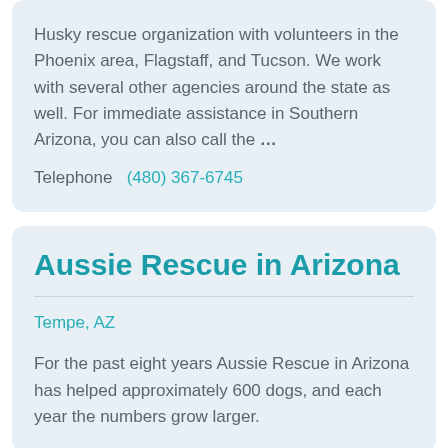Husky rescue organization with volunteers in the Phoenix area, Flagstaff, and Tucson. We work with several other agencies around the state as well. For immediate assistance in Southern Arizona, you can also call the …
Telephone  (480) 367-6745
Aussie Rescue in Arizona
Tempe, AZ
For the past eight years Aussie Rescue in Arizona has helped approximately 600 dogs, and each year the numbers grow larger.